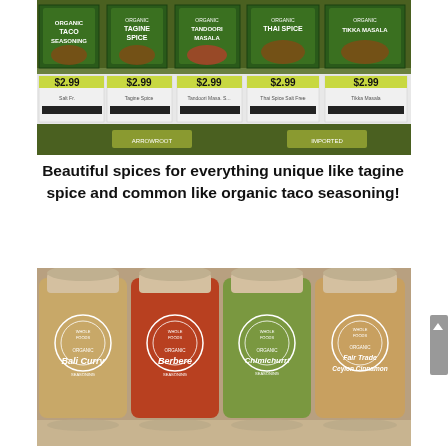[Figure (photo): Photo of organic spice boxes on a store shelf including Organic Taco Seasoning, Organic Tagine Spice, Organic Tandoori Masala, Organic Thai Spice, and Organic Tikka Masala, all priced at $2.99]
Beautiful spices for everything unique like tagine spice and common like organic taco seasoning!
[Figure (photo): Photo of four Whole Foods Organic spice jars: Bali Curry Seasoning, Berbere Seasoning, Chimichurri Seasoning, and Fair Trade Ceylon Cinnamon]